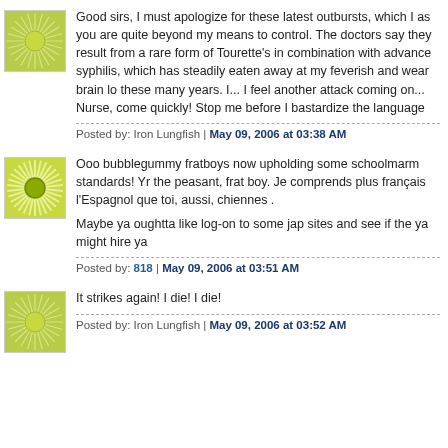Good sirs, I must apologize for these latest outbursts, which I as you are quite beyond my means to control. The doctors say they result from a rare form of Tourette's in combination with advance syphilis, which has steadily eaten away at my feverish and wear brain lo these many years. I... I feel another attack coming on... Nurse, come quickly! Stop me before I bastardize the language
Posted by: Iron Lungfish | May 09, 2006 at 03:38 AM
Ooo bubblegummy fratboys now upholding some schoolmarm standards! Yr the peasant, frat boy. Je comprends plus français l'Espagnol que toi, aussi, chiennes .

Maybe ya oughtta like log-on to some jap sites and see if the ya might hire ya
Posted by: 818 | May 09, 2006 at 03:51 AM
It strikes again! I die! I die!
Posted by: Iron Lungfish | May 09, 2006 at 03:52 AM